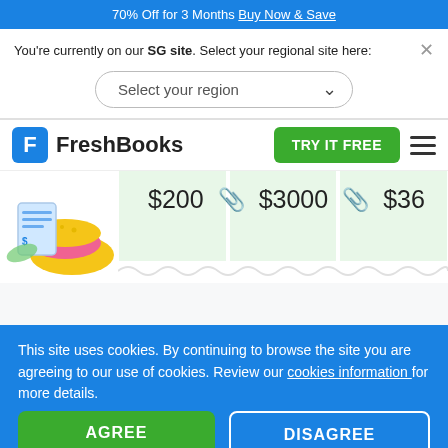70% Off for 3 Months Buy Now & Save
You're currently on our SG site. Select your regional site here:
Select your region
[Figure (logo): FreshBooks logo with blue F icon and FreshBooks text, TRY IT FREE green button, hamburger menu icon]
[Figure (illustration): FreshBooks hero illustration: cartoon food items with invoice/receipt and dollar amounts $200, $3000, $36 with paperclip icons and green bar columns]
This site uses cookies. By continuing to browse the site you are agreeing to our use of cookies. Review our cookies information for more details.
AGREE
DISAGREE